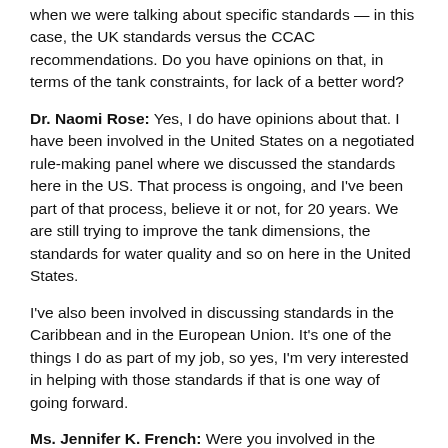when we were talking about specific standards — in this case, the UK standards versus the CCAC recommendations. Do you have opinions on that, in terms of the tank constraints, for lack of a better word?
Dr. Naomi Rose: Yes, I do have opinions about that. I have been involved in the United States on a negotiated rule-making panel where we discussed the standards here in the US. That process is ongoing, and I've been part of that process, believe it or not, for 20 years. We are still trying to improve the tank dimensions, the standards for water quality and so on here in the United States.
I've also been involved in discussing standards in the Caribbean and in the European Union. It's one of the things I do as part of my job, so yes, I'm very interested in helping with those standards if that is one way of going forward.
Ms. Jennifer K. French: Were you involved in the technical advisory group?